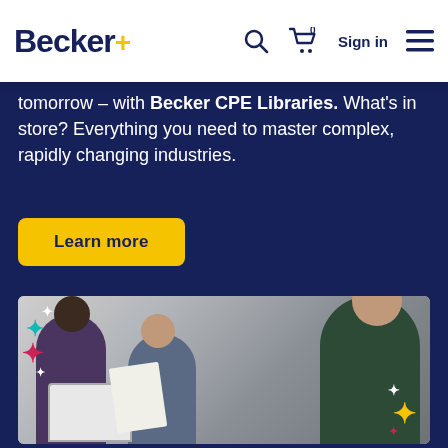Becker+  Sign in
tomorrow – with Becker CPE Libraries. What's in store? Everything you need to master complex, rapidly changing industries.
Learn more
[Figure (photo): Three professionals in a meeting setting; a man with glasses in the foreground reviewing a document, a woman in the middle, and a man in the background. Decorative plus/cross symbols overlay the photo in teal, pink, white, and yellow colors.]